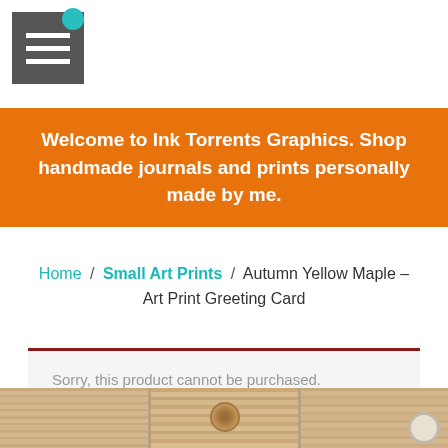[Figure (screenshot): Hamburger menu icon button with three white horizontal bars on a dark grey background, with a teal circle indicator in the top-right corner]
Welcome to Ink Torrents Graphics. Shop handmade journals and prints personally made by me.
Home / Small Art Prints / Autumn Yellow Maple – Art Print Greeting Card
Sorry, this product cannot be purchased.
[Figure (photo): Bottom portion of a product page showing a wood-textured background with a knot visible, likely product display area. A search/zoom icon is visible at the bottom right.]